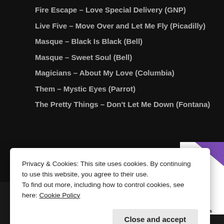Fire Escape – Love Special Delivery (GNP)
Live Five – Move Over and Let Me Fly (Picadilly)
Masque – Black Is Black (Bell)
Masque – Sweet Soul (Bell)
Magicians – About My Love (Columbia)
Them – Mystic Eyes (Parrot)
The Pretty Things – Don't Let Me Down (Fontana)
[Figure (other): Advertisement for selling subscriptions online with green and purple triangles graphic and text: How to start selling subscriptions online]
Privacy & Cookies: This site uses cookies. By continuing to use this website, you agree to their use.
To find out more, including how to control cookies, see here: Cookie Policy
Close and accept